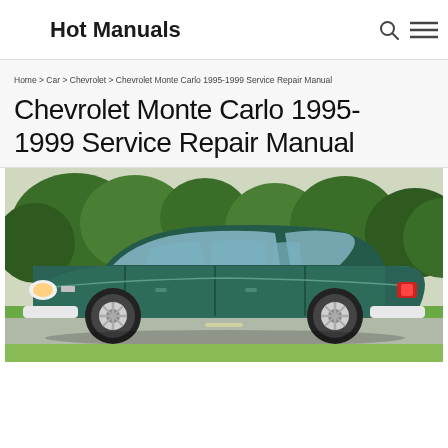Hot Manuals
Home > Car > Chevrolet > Chevrolet Monte Carlo 1995-1999 Service Repair Manual
Chevrolet Monte Carlo 1995-1999 Service Repair Manual
[Figure (photo): Photo of a dark green Chevrolet Monte Carlo (1995-1999) parked on a rural road with trees and grass in the background.]